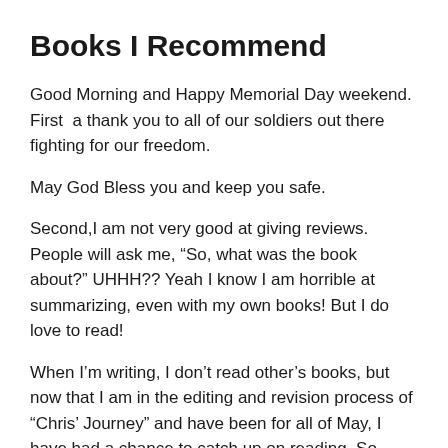Books I Recommend
Good Morning and Happy Memorial Day weekend. First  a thank you to all of our soldiers out there fighting for our freedom.
May God Bless you and keep you safe.
Second,I am not very good at giving reviews. People will ask me, “So, what was the book about?” UHHH?? Yeah I know I am horrible at summarizing, even with my own books! But I do love to read!
When I’m writing, I don’t read other’s books, but now that I am in the editing and revision process of “Chris’ Journey” and have been for all of May, I have had a chance to catch up on reading. So without further ado here are the books I